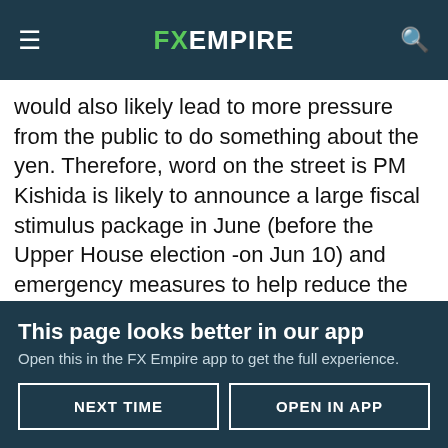FX EMPIRE
would also likely lead to more pressure from the public to do something about the yen. Therefore, word on the street is PM Kishida is likely to announce a large fiscal stimulus package in June (before the Upper House election -on Jun 10) and emergency measures to help reduce the effects of rising energy and food prices.
When I was market making a $Yen book via Tokyo for a way too many decades, under these types of conditions I would keep my eyes peeled for Tokyo flows as local banks are much
This page looks better in our app
Open this in the FX Empire app to get the full experience.
NEXT TIME   OPEN IN APP